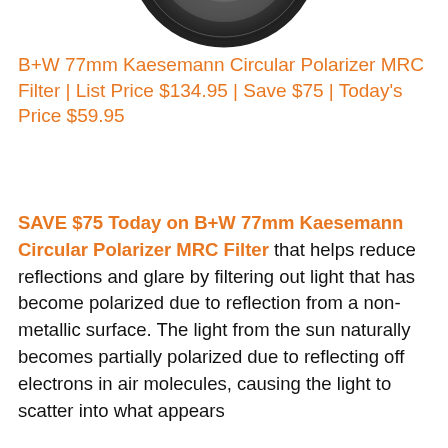[Figure (photo): Partial image of a circular camera filter (B+W 77mm) visible at the top of the page, showing the bottom arc of the filter]
B+W 77mm Kaesemann Circular Polarizer MRC Filter | List Price $134.95 | Save $75 | Today's Price $59.95
SAVE $75 Today on B+W 77mm Kaesemann Circular Polarizer MRC Filter that helps reduce reflections and glare by filtering out light that has become polarized due to reflection from a non-metallic surface. The light from the sun naturally becomes partially polarized due to reflecting off electrons in air molecules, causing the light to scatter into what appears